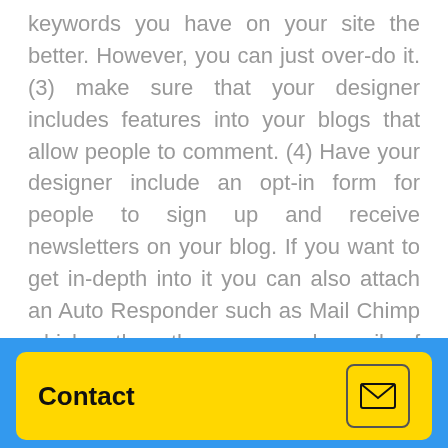keywords you have on your site the better. However, you can just over-do it. (3) make sure that your designer includes features into your blogs that allow people to comment. (4) Have your designer include an opt-in form for people to sign up and receive newsletters on your blog. If you want to get in-depth into it you can also attach an Auto Responder such as Mail Chimp which gathers the names and e-mails of your subscribers. It also lets you schedule future posts. (5) Link your blog to your social media pages such as Facebook and Twitter.
Back Linking
Contact